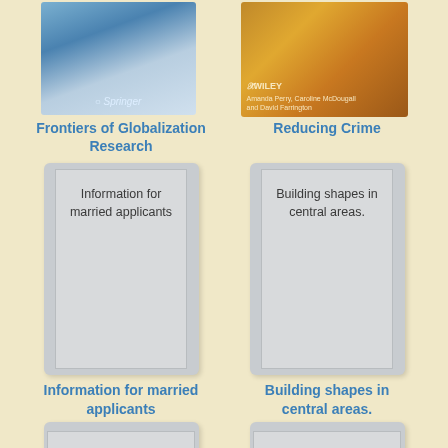[Figure (illustration): Book cover for Frontiers of Globalization Research, Springer publisher, blue cloud background]
[Figure (illustration): Book cover for Reducing Crime, Wiley publisher, dark orange/gold background with people]
Frontiers of Globalization Research
Reducing Crime
[Figure (illustration): Document card placeholder with text: Information for married applicants]
[Figure (illustration): Document card placeholder with text: Building shapes in central areas.]
Information for married applicants
Building shapes in central areas.
[Figure (illustration): Document card placeholder with text: The next continent]
[Figure (illustration): Document card placeholder with text: EXPLORE TITANIC]